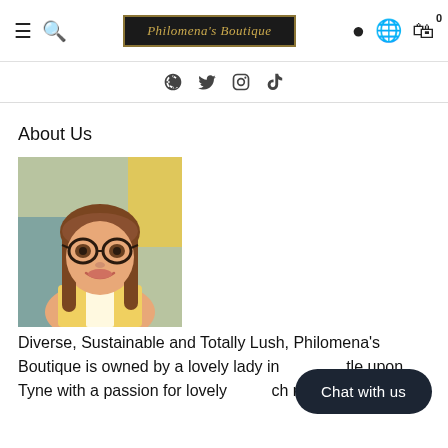Philomena's Boutique
About Us
[Figure (photo): Portrait photo of a woman with long brown hair and round glasses, smiling, wearing a yellow and white top]
Diverse, Sustainable and Totally Lush, Philomena's Boutique is owned by a lovely lady in ... tle upon Tyne with a passion for lovely ... ch make us smile.